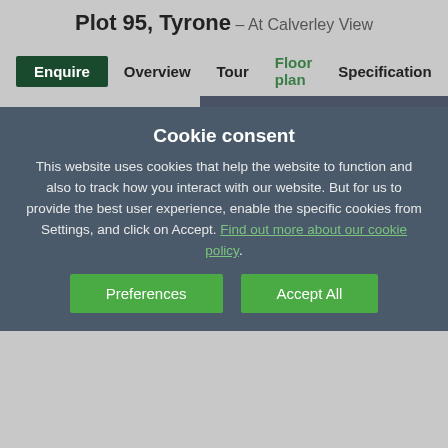Plot 95, Tyrone – At Calverley View
Enquire  Overview  Tour  Floor plan  Specification
[Figure (engineering-diagram): Architectural floor plan showing DINING area with kitchen counter/hob, staircase, and WC/bathroom layout. Navigation arrows visible on left and right sides.]
Cookie consent
This website uses cookies that help the website to function and also to track how you interact with our website. But for us to provide the best user experience, enable the specific cookies from Settings, and click on Accept. Find out more about our cookie policy.